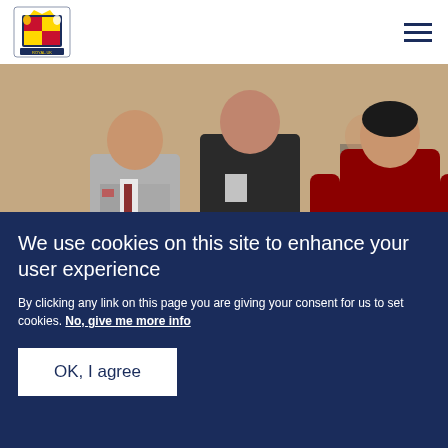[Figure (logo): Royal coat of arms logo in blue and gold]
[Figure (photo): Photo of royal family members including a man in grey suit and woman in red dress at a formal event]
NEWS
The Royal Week 2-8 April
We use cookies on this site to enhance your user experience
By clicking any link on this page you are giving your consent for us to set cookies. No, give me more info
OK, I agree